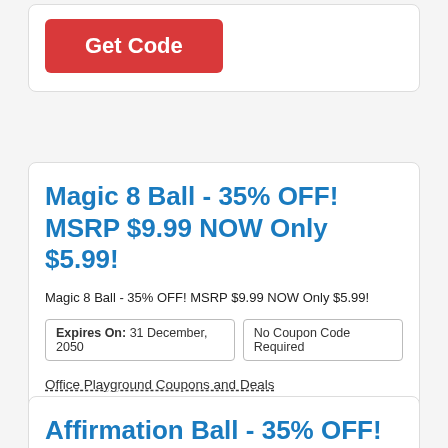[Figure (other): Red 'Get Code' button inside a card (partially visible at top)]
Magic 8 Ball - 35% OFF! MSRP $9.99 NOW Only $5.99!
Magic 8 Ball - 35% OFF! MSRP $9.99 NOW Only $5.99!
Expires On: 31 December, 2050
No Coupon Code Required
Office Playground Coupons and Deals
[Figure (other): Blue 'Get Deal' button]
Affirmation Ball - 35% OFF! MSRP $9.99 NOW Only $5.99!